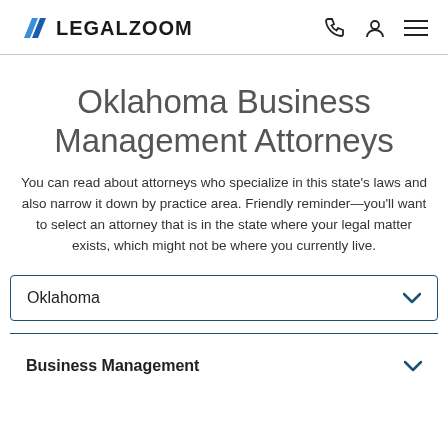LEGALZOOM
Oklahoma Business Management Attorneys
You can read about attorneys who specialize in this state's laws and also narrow it down by practice area. Friendly reminder—you'll want to select an attorney that is in the state where your legal matter exists, which might not be where you currently live.
Oklahoma
Business Management